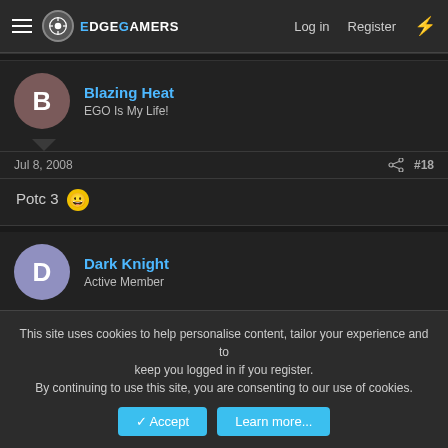EdgeGamers — Log in | Register
Blazing Heat
EGO Is My Life!
Jul 8, 2008  #18
Potc 3 😀
Dark Knight
Active Member
Jul 8, 2008  #19
This site uses cookies to help personalise content, tailor your experience and to keep you logged in if you register.
By continuing to use this site, you are consenting to our use of cookies.